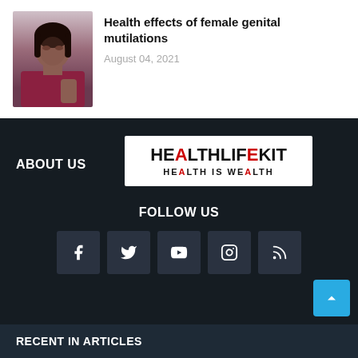[Figure (photo): Photo of a young Black woman looking at a phone or mirror, wearing a maroon top, indoor background]
Health effects of female genital mutilations
August 04, 2021
ABOUT US
[Figure (logo): HealthLifeKit logo — HEALTHLIFEKIT in bold black with red A, red F; tagline HEALTH IS WEALTH below]
FOLLOW US
[Figure (infographic): Row of 5 social media icon buttons: Facebook, Twitter, YouTube, Instagram, RSS]
RECENT IN ARTICLES